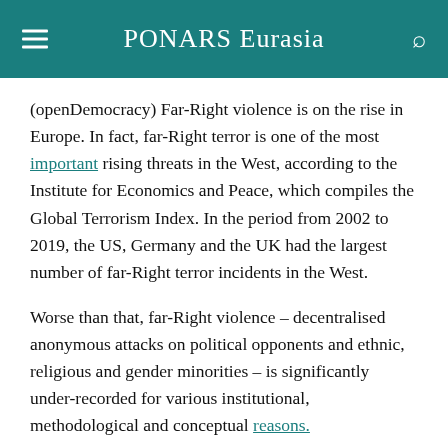PONARS Eurasia
(openDemocracy) Far-Right violence is on the rise in Europe. In fact, far-Right terror is one of the most important rising threats in the West, according to the Institute for Economics and Peace, which compiles the Global Terrorism Index. In the period from 2002 to 2019, the US, Germany and the UK had the largest number of far-Right terror incidents in the West.
Worse than that, far-Right violence – decentralised anonymous attacks on political opponents and ethnic, religious and gender minorities – is significantly under-recorded for various institutional, methodological and conceptual reasons.